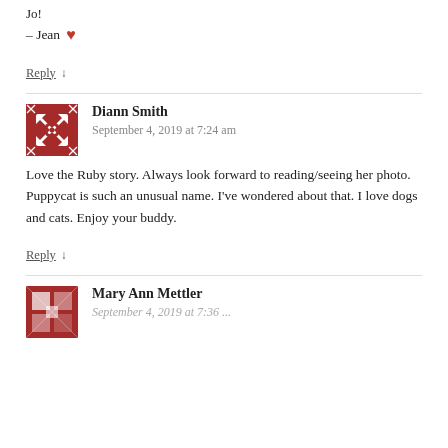Jo!
– Jean ❤
Reply ↓
Diann Smith
September 4, 2019 at 7:24 am
Love the Ruby story. Always look forward to reading/seeing her photo. Puppycat is such an unusual name. I've wondered about that. I love dogs and cats. Enjoy your buddy.
Reply ↓
Mary Ann Mettler